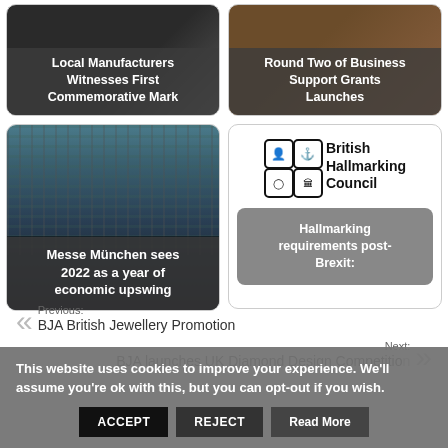[Figure (photo): Card with dark background showing text: Local Manufacturers Witnesses First Commemorative Mark]
[Figure (photo): Card with brown background showing text: Round Two of Business Support Grants Launches]
[Figure (photo): Card with crowd photo (Messe München) showing text: Messe München sees 2022 as a year of economic upswing]
[Figure (logo): British Hallmarking Council logo with four hallmark icons and text, plus Hallmarking requirements post-Brexit button]
Previous:
BJA British Jewellery Promotion
Next:
BJA launches UK Diamond Design Competition
This website uses cookies to improve your experience. We'll assume you're ok with this, but you can opt-out if you wish.